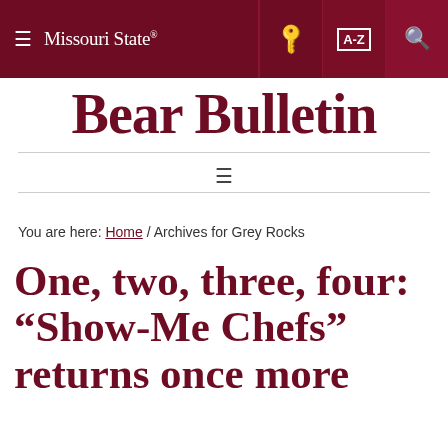Missouri State Bear Bulletin navigation bar
Bear Bulletin
You are here: Home / Archives for Grey Rocks
One, two, three, four: “Show-Me Chefs” returns once more